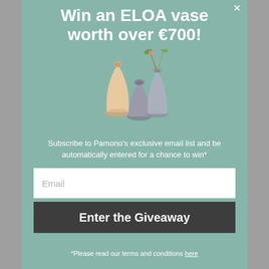Win an ELOA vase worth over €700!
[Figure (illustration): Three decorative ELOA vases of different shapes and colors — a peach/cream teardrop, a grey tapered, and a grey frosted with green plant stems — on a teal/sage green background]
Subscribe to Pamono's exclusive email list and be automatically entered for a chance to win*
Email
Enter the Giveaway
*Please read our terms and conditions here